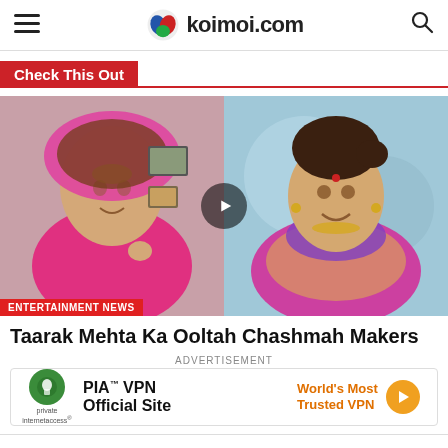koimoi.com
Check This Out
[Figure (photo): Split thumbnail image showing two women: left side shows a young woman in a pink head covering, right side shows a woman in colorful Indian attire with a bindi. A play button is overlaid in the center. Entertainment news badge in lower left.]
Taarak Mehta Ka Ooltah Chashmah Makers
ADVERTISEMENT
[Figure (other): PIA VPN advertisement banner: Private Internet Access logo on left, 'PIA TM VPN Official Site' text in center, 'World's Most Trusted VPN' in orange on right with arrow button]